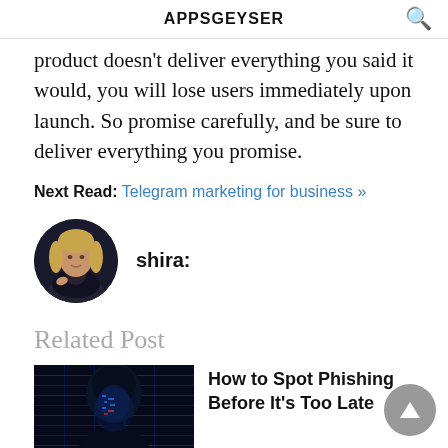APPSGEYSER
product doesn't deliver everything you said it would, you will lose users immediately upon launch. So promise carefully, and be sure to deliver everything you promise.
Next Read: Telegram marketing for business »
shira:
[Figure (photo): Circular profile photo of author Shira — a woman with blonde hair wearing a dark jacket, against a dark background.]
Related Post
[Figure (photo): Dark blue-toned photo of a hooded figure with digital code/data projections on their face, representing cybersecurity/phishing concept.]
How to Spot Phishing Before It's Too Late